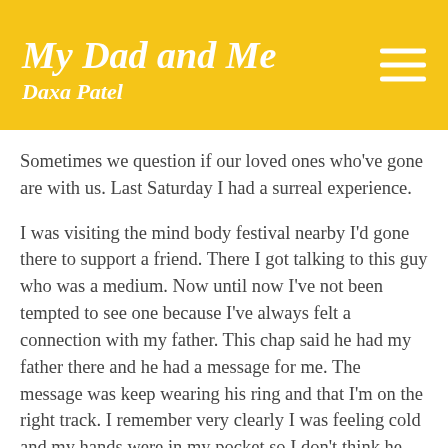My Dad and Me
Daxa Patel
Sometimes we question if our loved ones who've gone are with us. Last Saturday I had a surreal experience.
I was visiting the mind body festival nearby I'd gone there to support a friend. There I got talking to this guy who was a medium. Now until now I've not been tempted to see one because I've always felt a connection with my father. This chap said he had my father there and he had a message for me. The message was keep wearing his ring and that I'm on the right track. I remember very clearly I was feeling cold and my hands were in my pocket so I don't think he had the chance to see my hands.
I don't want to say I endorse seeing a medium.  This was my first encounter and it was a chance meeting